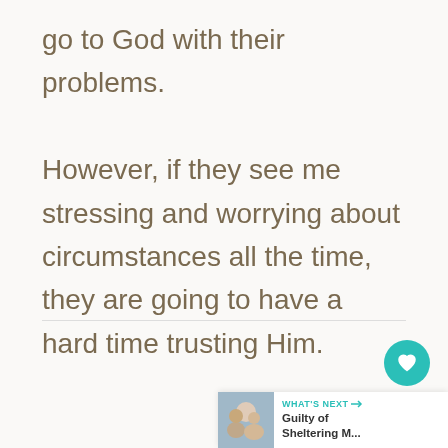go to God with their problems. However, if they see me stressing and worrying about circumstances all the time, they are going to have a hard time trusting Him.
[Figure (other): Heart (like) button, share button, and count indicator on the right side of a blog article page, along with a 'What's Next' navigation widget showing 'Guilty of Sheltering M...']